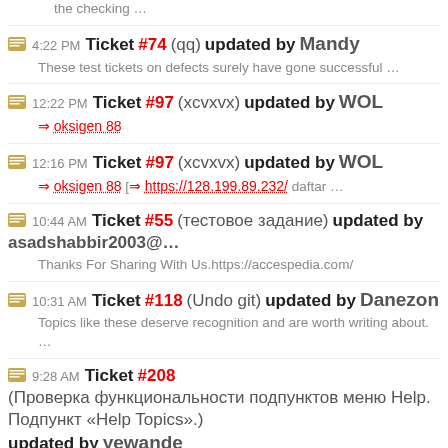the checking …
4:22 PM Ticket #74 (qq) updated by Mandy — These test tickets on defects surely have gone successful …
12:22 PM Ticket #97 (xcvxvx) updated by WOL — ⇒ oksigen 88
12:16 PM Ticket #97 (xcvxvx) updated by WOL — ⇒ oksigen 88 [⇒ https://128.199.89.232/ daftar …
10:44 AM Ticket #55 (тестовое задание) updated by asadshabbir2003@… — Thanks For Sharing With Us.https://accespedia.com/
10:31 AM Ticket #118 (Undo git) updated by Danezon — Topics like these deserve recognition and are worth writing about. …
9:28 AM Ticket #208 (Проверка функциональности подпунктов меню Help. Подпункт «Help Topics».) updated by yewande — Nice blog and absolutely outstanding. You can do something much better.